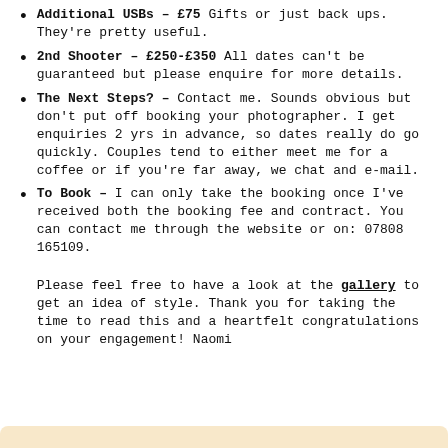Additional USBs – £75 Gifts or just back ups. They're pretty useful.
2nd Shooter – £250-£350 All dates can't be guaranteed but please enquire for more details.
The Next Steps? – Contact me. Sounds obvious but don't put off booking your photographer. I get enquiries 2 yrs in advance, so dates really do go quickly. Couples tend to either meet me for a coffee or if you're far away, we chat and e-mail.
To Book – I can only take the booking once I've received both the booking fee and contract. You can contact me through the website or on: 07808 165109.
Please feel free to have a look at the gallery to get an idea of style. Thank you for taking the time to read this and a heartfelt congratulations on your engagement! Naomi